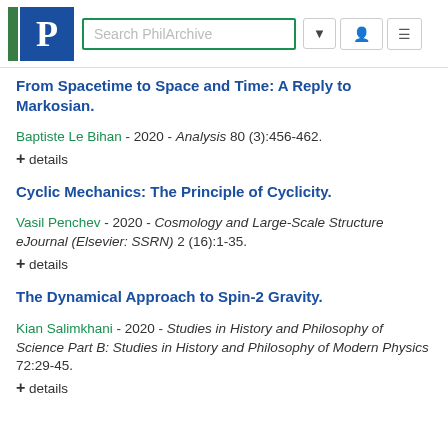PhilArchive search header with logo and search box
From Spacetime to Space and Time: A Reply to Markosian.
Baptiste Le Bihan - 2020 - Analysis 80 (3):456-462.
+ details
Cyclic Mechanics: The Principle of Cyclicity.
Vasil Penchev - 2020 - Cosmology and Large-Scale Structure eJournal (Elsevier: SSRN) 2 (16):1-35.
+ details
The Dynamical Approach to Spin-2 Gravity.
Kian Salimkhani - 2020 - Studies in History and Philosophy of Science Part B: Studies in History and Philosophy of Modern Physics 72:29-45.
+ details